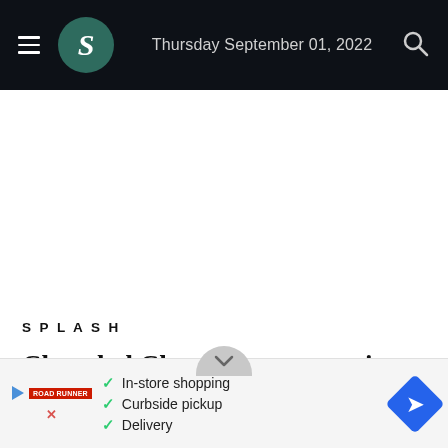Thursday September 01, 2022
SPLASH
Chanchal Chowdhury to star in 'Munna Bhai 2'?
[Figure (screenshot): Advertisement banner at bottom of page showing store shopping options: In-store shopping, Curbside pickup, Delivery with checkmarks, navigation arrow icon and red brand logo]